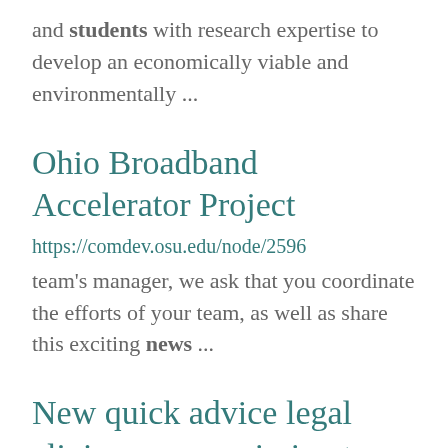and students with research expertise to develop an economically viable and environmentally ...
Ohio Broadband Accelerator Project
https://comdev.osu.edu/node/2596
team's manager, we ask that you coordinate the efforts of your team, as well as share this exciting news ...
New quick advice legal clinic program aiming to help close gap for rural entrepreneurs